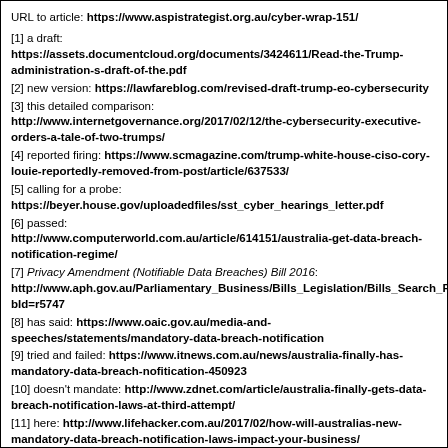URL to article: https://www.aspistrategist.org.au/cyber-wrap-151/
[1] a draft: https://assets.documentcloud.org/documents/3424611/Read-the-Trump-administration-s-draft-of-the.pdf
[2] new version: https://lawfareblog.com/revised-draft-trump-eo-cybersecurity
[3] this detailed comparison: http://www.internetgovernance.org/2017/02/12/the-cybersecurity-executive-orders-a-tale-of-two-trumps/
[4] reported firing: https://www.scmagazine.com/trump-white-house-ciso-cory-louie-reportedly-removed-from-post/article/637533/
[5] calling for a probe: https://beyer.house.gov/uploadedfiles/sst_cyber_hearings_letter.pdf
[6] passed: http://www.computerworld.com.au/article/614151/australia-get-data-breach-notification-regime/
[7] Privacy Amendment (Notifiable Data Breaches) Bill 2016: http://www.aph.gov.au/Parliamentary_Business/Bills_Legislation/Bills_Search_Results/Result?bId=r5747
[8] has said: https://www.oaic.gov.au/media-and-speeches/statements/mandatory-data-breach-notification
[9] tried and failed: https://www.itnews.com.au/news/australia-finally-has-mandatory-data-breach-nofitication-450923
[10] doesn't mandate: http://www.zdnet.com/article/australia-finally-gets-data-breach-notification-laws-at-third-attempt/
[11] here: http://www.lifehacker.com.au/2017/02/how-will-australias-new-mandatory-data-breach-notification-laws-impact-your-business/
[12] National Cyber Security Centre: https://www.ncsc.gov.uk/